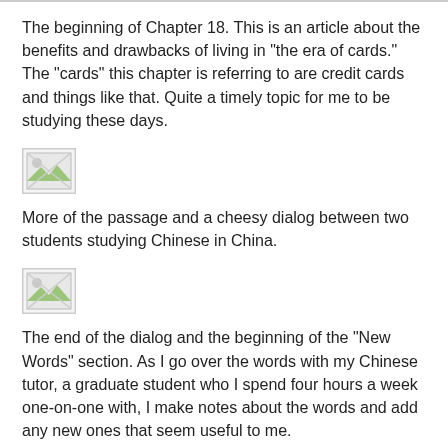The beginning of Chapter 18. This is an article about the benefits and drawbacks of living in "the era of cards." The "cards" this chapter is referring to are credit cards and things like that. Quite a timely topic for me to be studying these days.
[Figure (illustration): Broken/placeholder image icon]
More of the passage and a cheesy dialog between two students studying Chinese in China.
[Figure (illustration): Broken/placeholder image icon]
The end of the dialog and the beginning of the "New Words" section. As I go over the words with my Chinese tutor, a graduate student who I spend four hours a week one-on-one with, I make notes about the words and add any new ones that seem useful to me.
[Figure (illustration): Broken/placeholder image icon]
The end of the new words and a few notes on some of the words.